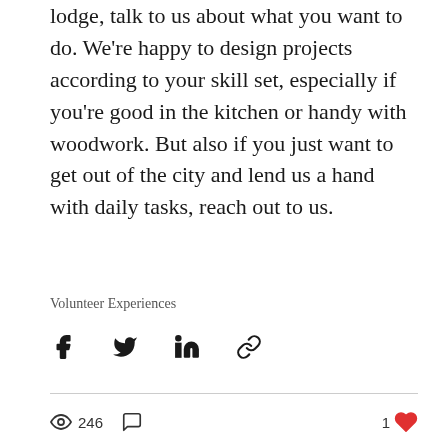lodge, talk to us about what you want to do. We're happy to design projects according to your skill set, especially if you're good in the kitchen or handy with woodwork. But also if you just want to get out of the city and lend us a hand with daily tasks, reach out to us.
Volunteer Experiences
[Figure (infographic): Social share icons: Facebook, Twitter, LinkedIn, and link/chain icon]
246 views, comment icon, 1 like